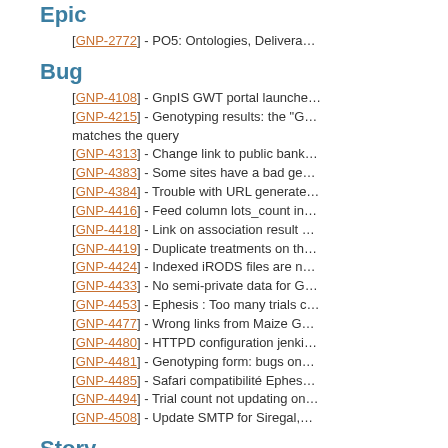Epic
[GNP-2772] - PO5: Ontologies, Delivera…
Bug
[GNP-4108] - GnpIS GWT portal launche…
[GNP-4215] - Genotyping results: the "G… matches the query
[GNP-4313] - Change link to public bank…
[GNP-4383] - Some sites have a bad ge…
[GNP-4384] - Trouble with URL generate…
[GNP-4416] - Feed column lots_count in…
[GNP-4418] - Link on association result …
[GNP-4419] - Duplicate treatments on th…
[GNP-4424] - Indexed iRODS files are n…
[GNP-4433] - No semi-private data for G…
[GNP-4453] - Ephesis : Too many trials c…
[GNP-4477] - Wrong links from Maize G…
[GNP-4480] - HTTPD configuration jenki…
[GNP-4481] - Genotyping form: bugs on…
[GNP-4485] - Safari compatibilité Ephes…
[GNP-4494] - Trial count not updating on…
[GNP-4508] - Update SMTP for Siregal,…
Story
[GNP-3119] - Migrate polymorphic loci in…
[GNP-3303] - Integrate Recital/Apache n…
[GNP-3721] - Migration of GnpSNP Tale…
[GNP-3858] - Display TE density on Sym…
[GNP-4017] - Export Variables in Adonis…
[GNP-4034] - Update 4AL physical map…
[GNP-4060] - WebServices for Maize ac…